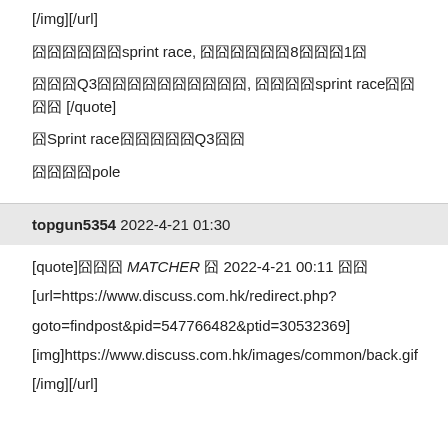[/img][/url]
囧囧囧囧囧囧sprint race, 囧囧囧囧囧囧8囧囧囧1囧
囧囧囧Q3囧囧囧囧囧囧囧囧囧囧, 囧囧囧囧sprint race囧囧囧囧 [/quote]
囧Sprint race囧囧囧囧囧Q3囧囧
囧囧囧囧pole
topgun5354 2022-4-21 01:30
[quote]囧囧囧 [i]MATCHER[/i] 囧 2022-4-21 00:11 囧囧
[url=https://www.discuss.com.hk/redirect.php?goto=findpost&pid=547766482&ptid=30532369]
[img]https://www.discuss.com.hk/images/common/back.gif
[/img][/url]